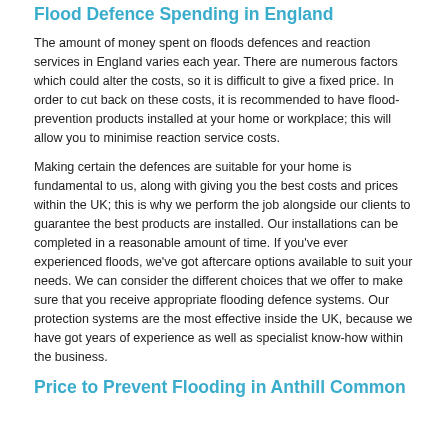Flood Defence Spending in England
The amount of money spent on floods defences and reaction services in England varies each year. There are numerous factors which could alter the costs, so it is difficult to give a fixed price. In order to cut back on these costs, it is recommended to have flood-prevention products installed at your home or workplace; this will allow you to minimise reaction service costs.
Making certain the defences are suitable for your home is fundamental to us, along with giving you the best costs and prices within the UK; this is why we perform the job alongside our clients to guarantee the best products are installed. Our installations can be completed in a reasonable amount of time. If you've ever experienced floods, we've got aftercare options available to suit your needs. We can consider the different choices that we offer to make sure that you receive appropriate flooding defence systems. Our protection systems are the most effective inside the UK, because we have got years of experience as well as specialist know-how within the business.
Price to Prevent Flooding in Anthill Common